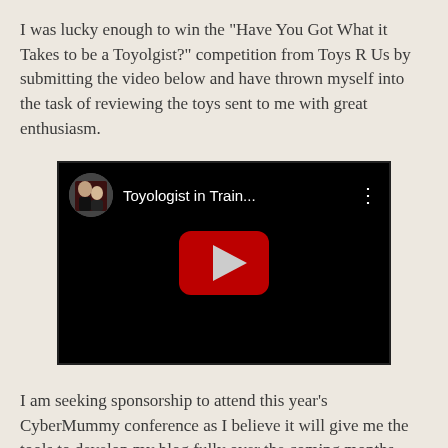I was lucky enough to win the "Have You Got What it Takes to be a Toyolgist?" competition from Toys R Us by submitting the video below and have thrown myself into the task of reviewing the toys sent to me with great enthusiasm.
[Figure (screenshot): YouTube video embed showing 'Toyologist in Train...' with a red play button on a black background, and a thumbnail of two people in the top-left corner.]
I am seeking sponsorship to attend this year's CyberMummy conference as I believe it will give me the tools to develop my blog fully over the coming months.
I am 46 years old. I have four grown up daughters from my